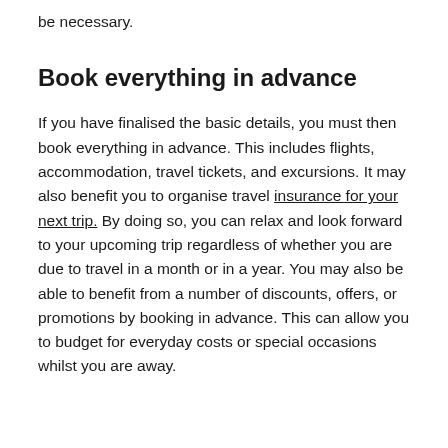be necessary.
Book everything in advance
If you have finalised the basic details, you must then book everything in advance. This includes flights, accommodation, travel tickets, and excursions. It may also benefit you to organise travel insurance for your next trip. By doing so, you can relax and look forward to your upcoming trip regardless of whether you are due to travel in a month or in a year. You may also be able to benefit from a number of discounts, offers, or promotions by booking in advance. This can allow you to budget for everyday costs or special occasions whilst you are away.